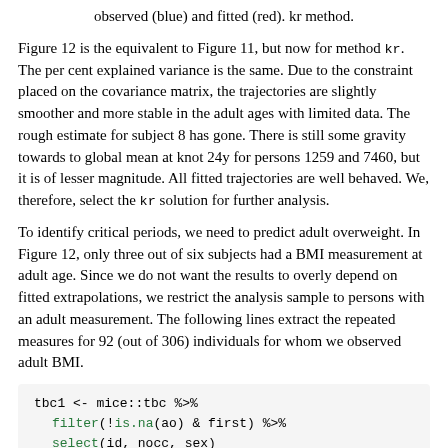observed (blue) and fitted (red). kr method.
Figure 12 is the equivalent to Figure 11, but now for method kr. The per cent explained variance is the same. Due to the constraint placed on the covariance matrix, the trajectories are slightly smoother and more stable in the adult ages with limited data. The rough estimate for subject 8 has gone. There is still some gravity towards to global mean at knot 24y for persons 1259 and 7460, but it is of lesser magnitude. All fitted trajectories are well behaved. We, therefore, select the kr solution for further analysis.
To identify critical periods, we need to predict adult overweight. In Figure 12, only three out of six subjects had a BMI measurement at adult age. Since we do not want the results to overly depend on fitted extrapolations, we restrict the analysis sample to persons with an adult measurement. The following lines extract the repeated measures for 92 (out of 306) individuals for whom we observed adult BMI.
tbc1 <- mice::tbc %>%
  filter(!is.na(ao) & first) %>%
  select(id, nocc, sex)
tbc2 <- mice::tbc.target %>%
  filter(id %in% tbc1$id)